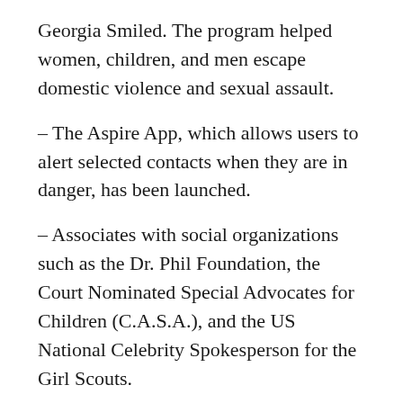Georgia Smiled. The program helped women, children, and men escape domestic violence and sexual assault.
– The Aspire App, which allows users to alert selected contacts when they are in danger, has been launched.
– Associates with social organizations such as the Dr. Phil Foundation, the Court Nominated Special Advocates for Children (C.A.S.A.), and the US National Celebrity Spokesperson for the Girl Scouts.
The McGraw Awards
2014-Girl Scouts of Greater Los Angeles Women of Distinction.